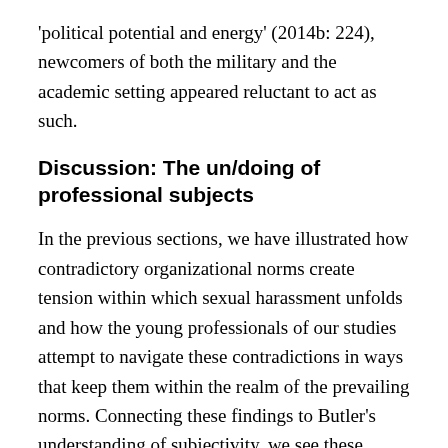'political potential and energy' (2014b: 224), newcomers of both the military and the academic setting appeared reluctant to act as such.
Discussion: The un/doing of professional subjects
In the previous sections, we have illustrated how contradictory organizational norms create tension within which sexual harassment unfolds and how the young professionals of our studies attempt to navigate these contradictions in ways that keep them within the realm of the prevailing norms. Connecting these findings to Butler's understanding of subjectivity, we see these contradictions intertwining with the possibilities of becoming an intelligible subject.
Butler has argued that we are not just socially mediated, but socially constituted qua prevailing norms (2004: 32). Translating this claim to our empirical field, we argue that